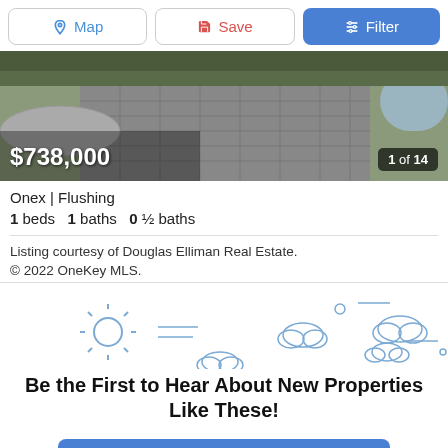Map | Save | Filter
[Figure (photo): Brick paver walkway with stone garden borders and shrubs, property exterior shot]
$738,000  1 of 14
Onex | Flushing
1 beds  1 baths  0 ½ baths
Listing courtesy of Douglas Elliman Real Estate.
© 2022 OneKey MLS.
[Figure (illustration): Weather icons illustration: sun, clouds, decorative lines]
Be the First to Hear About New Properties Like These!
Notify Me